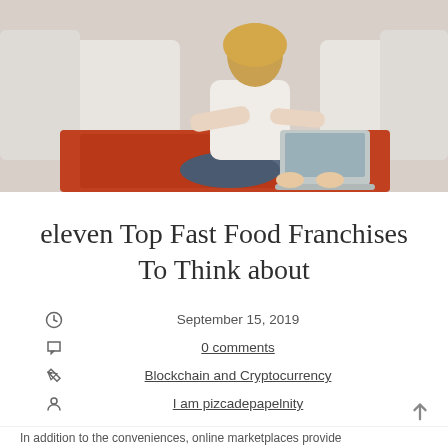[Figure (photo): Person sitting on floor leaning against white sofa, using a laptop computer, with an orange/red rug visible on the floor]
eleven Top Fast Food Franchises To Think about
September 15, 2019
0 comments
Blockchain and Cryptocurrency
I am pizcadepapelnity
In addition to the conveniences, online marketplaces provide